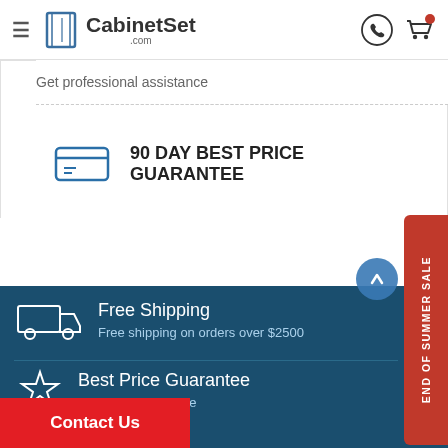CabinetSet.com
Get professional assistance
90 DAY BEST PRICE GUARANTEE
Free Shipping
Free shipping on orders over $2500
Best Price Guarantee
best price guarantee
END OF SUMMER SALE
Contact Us